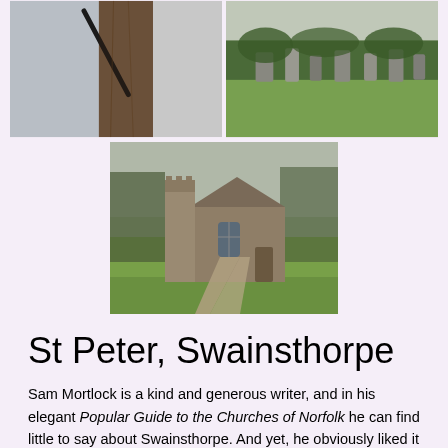[Figure (photo): Two photos side by side at top: left photo shows a close-up of a tree trunk with a dark diagonal rod/antenna, overcast sky; right photo shows a green churchyard/graveyard with headstones and shrubs.]
[Figure (photo): Center photo of St Peter church, Swainsthorpe: a small flint round-towered church with a gravel path leading to it, surrounded by a green churchyard and bare winter trees.]
St Peter, Swainsthorpe
Sam Mortlock is a kind and generous writer, and in his elegant Popular Guide to the Churches of Norfolk he can find little to say about Swainsthorpe. And yet, he obviously liked it a good deal, and that was exactly how I felt about it. Here is a simple little round towered church, within sight of the busy A140 but with a sense of deep rural peace about it. Peter and I came here on the only gloomy day in March, and in truth the weather was at its worst while we were at Swainsthorpe, a haze of drizzle settling on the small graveyard. The pretty